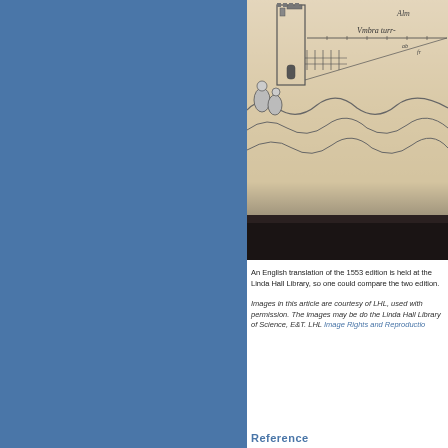[Figure (photo): Partial view of an old engraving or woodcut from a 1553 edition, showing a tower or building structure with figures and landscape, with Latin text 'Vmbra turr-' visible. The bottom of the image shows a dark binding edge.]
An English translation of the 1553 edition is held at the Linda Hall Library, so one could compare the two edition.
Images in this article are courtesy of LHL, used with permission. The images may be downloaded for personal the Linda Hall Library of Science, Engineering & Technology. LHL Image Rights and Reproduction
Reference